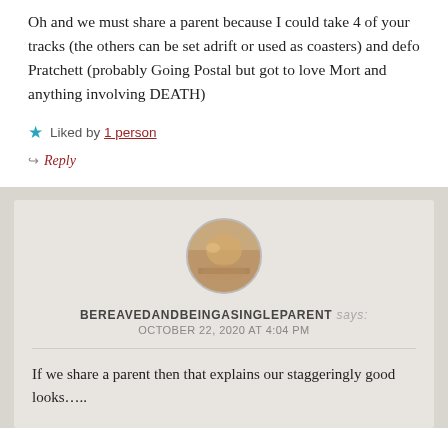Oh and we must share a parent because I could take 4 of your tracks (the others can be set adrift or used as coasters) and defo Pratchett (probably Going Postal but got to love Mort and anything involving DEATH)
★ Liked by 1 person
↪ Reply
BEREAVEDANDBEINGASINGLEPARENT says: OCTOBER 22, 2020 AT 4:04 PM
If we share a parent then that explains our staggeringly good looks.....